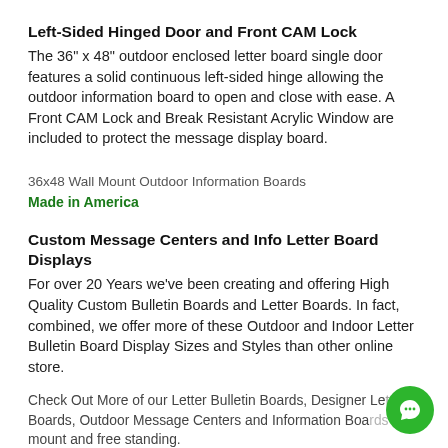Left-Sided Hinged Door and Front CAM Lock
The 36" x 48" outdoor enclosed letter board single door features a solid continuous left-sided hinge allowing the outdoor information board to open and close with ease. A Front CAM Lock and Break Resistant Acrylic Window are included to protect the message display board.
36x48 Wall Mount Outdoor Information Boards
Made in America
Custom Message Centers and Info Letter Board Displays
For over 20 Years we've been creating and offering High Quality Custom Bulletin Boards and Letter Boards. In fact, combined, we offer more of these Outdoor and Indoor Letter Bulletin Board Display Sizes and Styles than other online store.
Check Out More of our Letter Bulletin Boards, Designer Letter Boards, Outdoor Message Centers and Information Boards wall mount and free standing.